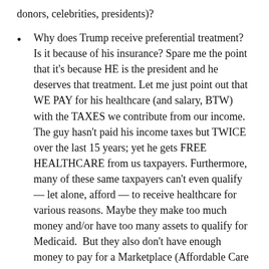donors, celebrities, presidents)?
Why does Trump receive preferential treatment? Is it because of his insurance? Spare me the point that it's because HE is the president and he deserves that treatment. Let me just point out that WE PAY for his healthcare (and salary, BTW) with the TAXES we contribute from our income. The guy hasn't paid his income taxes but TWICE over the last 15 years; yet he gets FREE HEALTHCARE from us taxpayers. Furthermore, many of these same taxpayers can't even qualify — let alone, afford — to receive healthcare for various reasons. Maybe they make too much money and/or have too many assets to qualify for Medicaid.  But they also don't have enough money to pay for a Marketplace (Affordable Care Act) insurance.
Lack of insurance is a HUGE  problem for our entire population, especially for the low-income (high-risk...